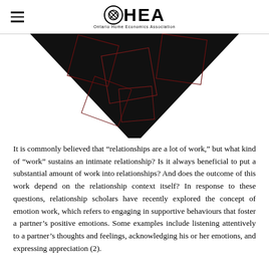OHEA — Ontario Home Economics Association
[Figure (illustration): A black downward-pointing triangle/chevron shape with geometric red line patterns (rhombus/diamond outlines) overlaid on it, partially visible as the bottom portion of a larger image.]
It is commonly believed that “relationships are a lot of work,” but what kind of “work” sustains an intimate relationship? Is it always beneficial to put a substantial amount of work into relationships? And does the outcome of this work depend on the relationship context itself? In response to these questions, relationship scholars have recently explored the concept of emotion work, which refers to engaging in supportive behaviours that foster a partner’s positive emotions. Some examples include listening attentively to a partner’s thoughts and feelings, acknowledging his or her emotions, and expressing appreciation (2).